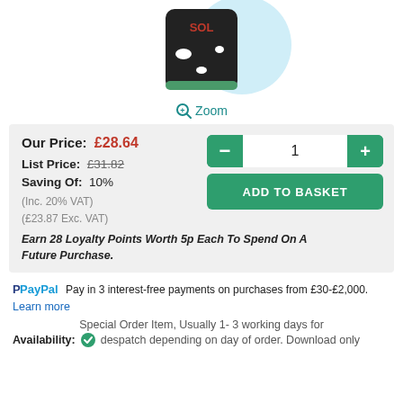[Figure (photo): Product photo of a dark cylindrical container with red text and white spots, with a light blue circular background]
Zoom
Our Price: £28.64
List Price: £31.82
Saving Of: 10%
(Inc. 20% VAT)
(£23.87 Exc. VAT)
Earn 28 Loyalty Points Worth 5p Each To Spend On A Future Purchase.
Pay in 3 interest-free payments on purchases from £30-£2,000.
Learn more
Special Order Item, Usually 1- 3 working days for
Availability: despatch depending on day of order. Download only